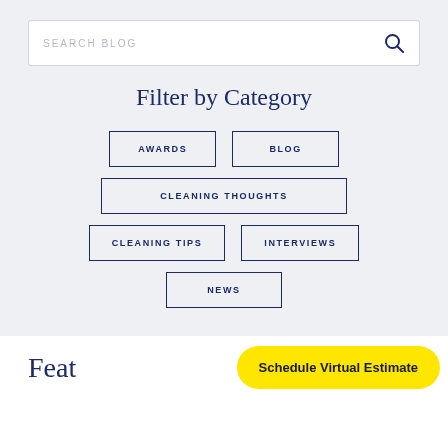SEARCH BLOG
Filter by Category
AWARDS
BLOG
CLEANING THOUGHTS
CLEANING TIPS
INTERVIEWS
NEWS
Feat
Schedule Virtual Estimate